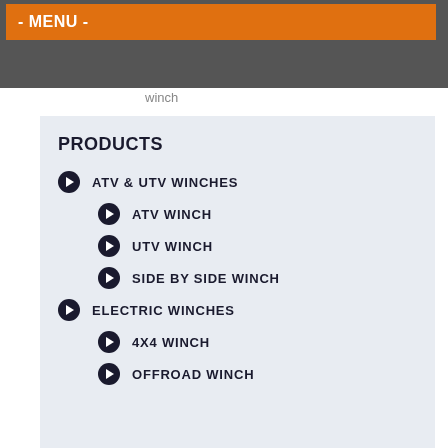- MENU -
winch
PRODUCTS
ATV & UTV WINCHES
ATV WINCH
UTV WINCH
SIDE BY SIDE WINCH
ELECTRIC WINCHES
4X4 WINCH
OFFROAD WINCH